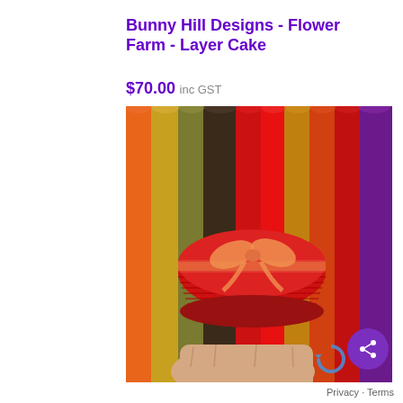Bunny Hill Designs - Flower Farm - Layer Cake
$70.00 inc GST
[Figure (photo): A hand holding a stack of fabric squares (layer cake) tied with an orange ribbon bow, displayed in front of bolts of colorful fabric in red, orange, gold, olive, dark brown, and purple tones.]
Privacy · Terms